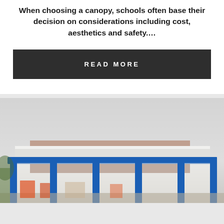When choosing a canopy, schools often base their decision on considerations including cost, aesthetics and safety.…
READ MORE
[Figure (photo): Photo of a school building with a blue metal canopy/shelter structure in the foreground, brick building visible behind, overcast sky above.]